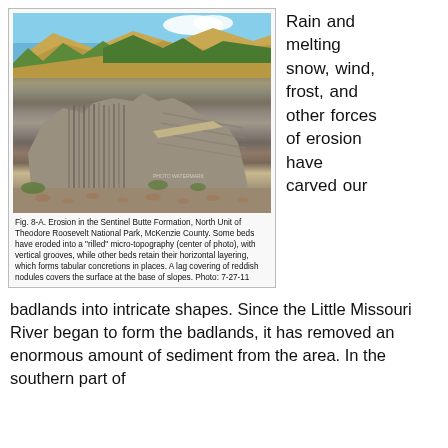[Figure (photo): Photograph of erosion in the Sentinel Butte Formation, North Unit of Theodore Roosevelt National Park, McKenzie County. Shows rilled micro-topography with vertical grooves and horizontal layering forming tabular concretions, with reddish nodule lag at base of slopes.]
Fig. 8-A. Erosion in the Sentinel Butte Formation, North Unit of Theodore Roosevelt National Park, McKenzie County. Some beds have eroded into a "rilled" micro-topography (center of photo), with vertical grooves, while other beds retain their horizontal layering, which forms tabular concretions in places. A lag covering of reddish nodules covers the surface at the base of slopes. Photo: 7-27-11
Rain and melting snow, wind, frost, and other forces of erosion have carved our
badlands into intricate shapes. Since the Little Missouri River began to form the badlands, it has removed an enormous amount of sediment from the area. In the southern part of